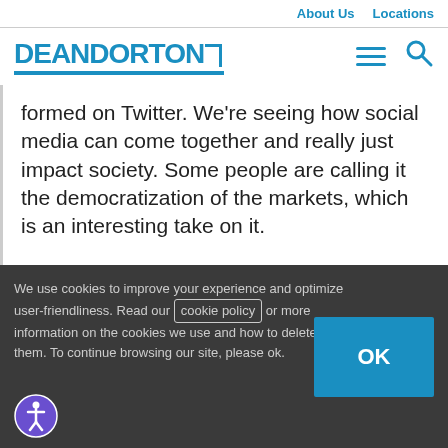About Us   Locations
[Figure (logo): Dean Dorton logo with bracket and blue underline, hamburger menu icon and search icon]
formed on Twitter. We're seeing how social media can come together and really just impact society. Some people are calling it the democratization of the markets, which is an interesting take on it.
We use cookies to improve your experience and optimize user-friendliness. Read our cookie policy or more information on the cookies we use and how to delete or block them. To continue browsing our site, please ok.